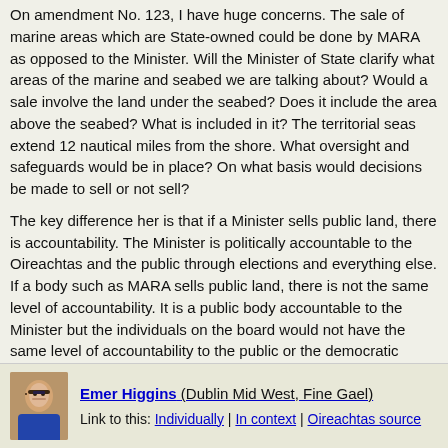On amendment No. 123, I have huge concerns. The sale of marine areas which are State-owned could be done by MARA as opposed to the Minister. Will the Minister of State clarify what areas of the marine and seabed we are talking about? Would a sale involve the land under the seabed? Does it include the area above the seabed? What is included in it? The territorial seas extend 12 nautical miles from the shore. What oversight and safeguards would be in place? On what basis would decisions be made to sell or not sell?
The key difference her is that if a Minister sells public land, there is accountability. The Minister is politically accountable to the Oireachtas and the public through elections and everything else. If a body such as MARA sells public land, there is not the same level of accountability. It is a public body accountable to the Minister but the individuals on the board would not have the same level of accountability to the public or the democratic process as the Minister has. Having the ability to sell reside with the Minister provides a political and democratic safeguard. A board is not subject to the same level of direct democratic accountability and scrutiny. That is a key concern I have. I ask the Minister of State to address those points specifically around accountability and safeguards.
Emer Higgins (Dublin Mid West, Fine Gael)
Link to this: Individually | In context | Oireachtas source